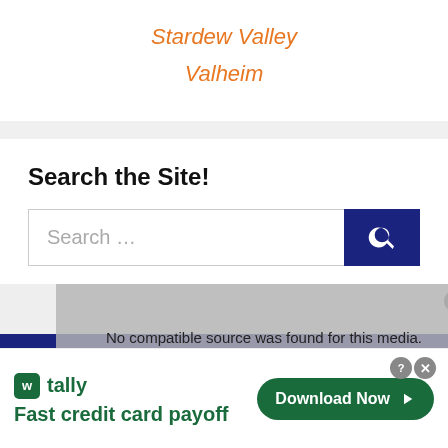Stardew Valley
Valheim
Search the Site!
Search ...
No compatible source was found for this media.
[Figure (screenshot): Advertisement banner: Tally - Fast credit card payoff with Download Now button]